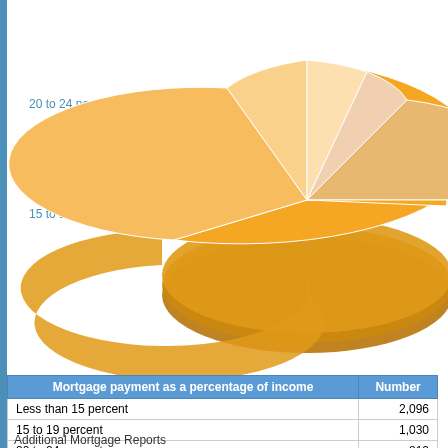[Figure (pie-chart): Mortgage payment as a percentage of income]
| Mortgage payment as a percentage of income | Number |
| --- | --- |
| Less than 15 percent | 2,096 |
| 15 to 19 percent | 1,030 |
| 20 to 24 percent | 812 |
| 25 to 29 percent | 456 |
| 30 to 34 percent | 262 |
| 35 percent or more | 660 |
| Not computed | 20 |
Additional Mortgage Reports